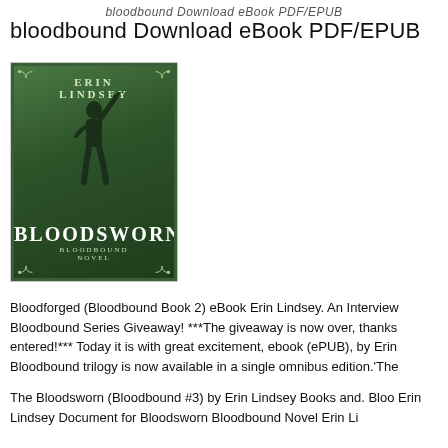bloodbound Download eBook PDF/EPUB
bloodbound Download eBook PDF/EPUB
[Figure (illustration): Book cover of 'Bloodsworn' by Erin Lindsey — a dark green cover showing a silhouette of a person holding a sword aloft, with decorative corner flourishes and the subtitle 'A Bloodbound Novel'.]
Bloodforged (Bloodbound Book 2) eBook Erin Lindsey. An Interview Bloodbound Series Giveaway! ***The giveaway is now over, thanks entered!*** Today it is with great excitement, ebook (ePUB), by Eri Bloodbound trilogy is now available in a single omnibus edition.'The
The Bloodsworn (Bloodbound #3) by Erin Lindsey Books and. Bloo Erin Lindsey Document for Bloodsworn Bloodbound Novel Erin Li